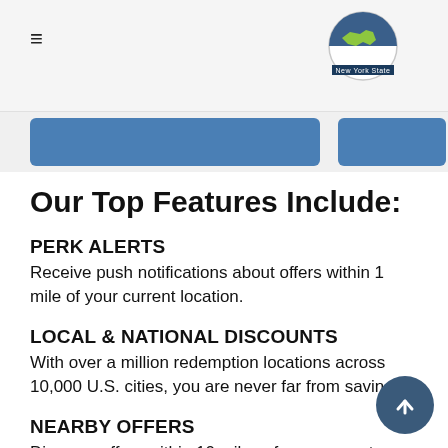SAANYS — New York State (logo and hamburger menu)
[Figure (logo): SAANYS New York State logo with hamburger menu icon on the left]
Our Top Features Include:
PERK ALERTS
Receive push notifications about offers within 1 mile of your current location.
LOCAL & NATIONAL DISCOUNTS
With over a million redemption locations across 10,000 U.S. cities, you are never far from saving
NEARBY OFFERS
Discover offers within 10 miles of your current location using geo-aware technology.